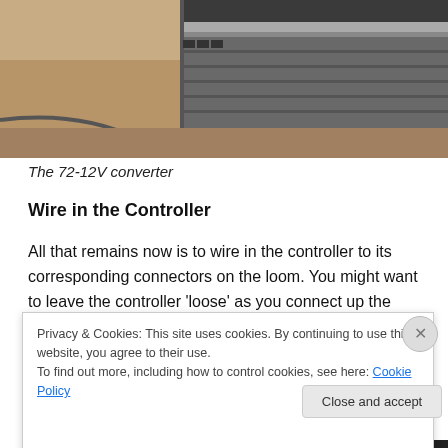[Figure (photo): Photo of a 72-12V converter device on a tan/beige surface, viewed from above. The device appears as a dark rectangular unit at upper right.]
The 72-12V converter
Wire in the Controller
All that remains now is to wire in the controller to its corresponding connectors on the loom. You might want to leave the controller ‘loose’ as you connect up the cables and figure out how to physically route them all round to
Privacy & Cookies: This site uses cookies. By continuing to use this website, you agree to their use.
To find out more, including how to control cookies, see here: Cookie Policy
Close and accept